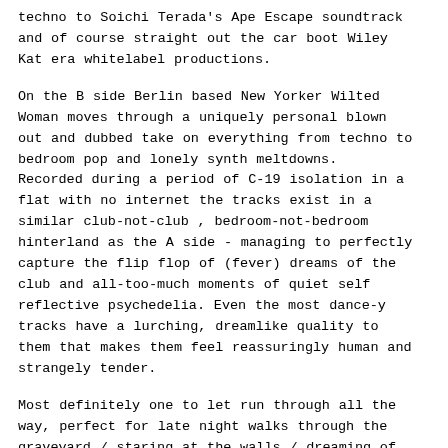techno to Soichi Terada's Ape Escape soundtrack and of course straight out the car boot Wiley Kat era whitelabel productions.
On the B side Berlin based New Yorker Wilted Woman moves through a uniquely personal blown out and dubbed take on everything from techno to bedroom pop and lonely synth meltdowns. Recorded during a period of C-19 isolation in a flat with no internet the tracks exist in a similar club-not-club , bedroom-not-bedroom hinterland as the A side - managing to perfectly capture the flip flop of (fever) dreams of the club and all-too-much moments of quiet self reflective psychedelia. Even the most dance-y tracks have a lurching, dreamlike quality to them that makes them feel reassuringly human and strangely tender.
Most definitely one to let run through all the way, perfect for late night walks through the graveyard / staring at the walls / dreaming of (but not actually bringing yourself to go to) the club.'